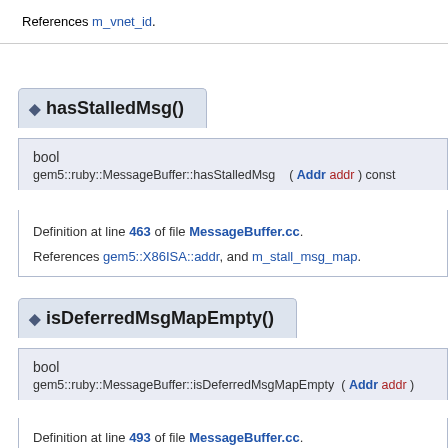References m_vnet_id.
hasStalledMsg()
bool gem5::ruby::MessageBuffer::hasStalledMsg ( Addr addr ) const
Definition at line 463 of file MessageBuffer.cc.
References gem5::X86ISA::addr, and m_stall_msg_map.
isDeferredMsgMapEmpty()
bool gem5::ruby::MessageBuffer::isDeferredMsgMapEmpty ( Addr addr )
Definition at line 493 of file MessageBuffer.cc.